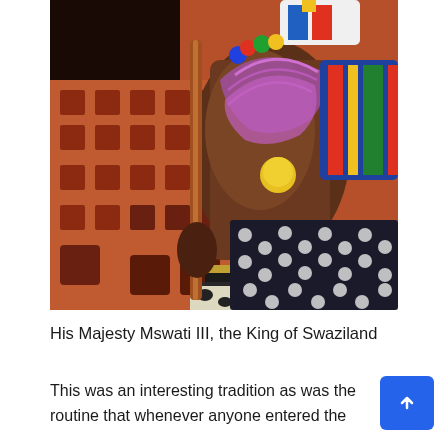[Figure (photo): A man wearing traditional Swazi royal attire — beaded necklaces, leopard print garment, black belt, holding a wooden staff — seated in front of a decorative red brick lattice wall.]
His Majesty Mswati III, the King of Swaziland
This was an interesting tradition as was the routine that whenever anyone entered the